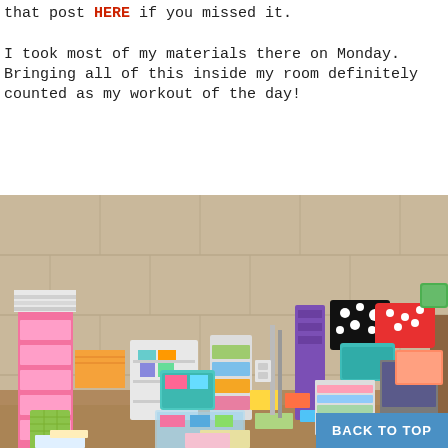that post HERE if you missed it.

I took most of my materials there on Monday. Bringing all of this inside my room definitely counted as my workout of the day!
[Figure (photo): A classroom floor piled high with colorful teaching materials, plastic storage drawers, bins, baskets, small shelving units, and supplies stacked against a beige cinder block wall. A student chair is visible on the right.]
BACK TO TOP